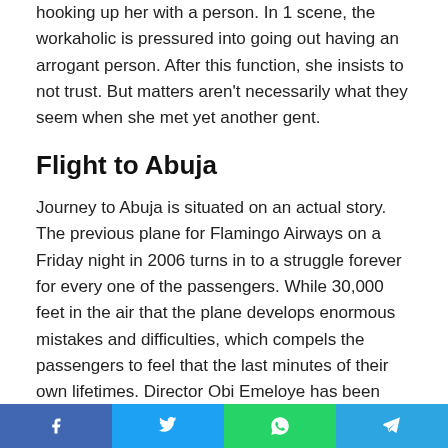hooking up her with a person. In 1 scene, the workaholic is pressured into going out having an arrogant person. After this function, she insists to not trust. But matters aren't necessarily what they seem when she met yet another gent.
Flight to Abuja
Journey to Abuja is situated on an actual story. The previous plane for Flamingo Airways on a Friday night in 2006 turns in to a struggle forever for every one of the passengers. While 30,000 feet in the air that the plane develops enormous mistakes and difficulties, which compels the passengers to feel that the last minutes of their own lifetimes. Director Obi Emeloye has been Combined with begins like
Share bar with Facebook, Twitter, WhatsApp, Telegram